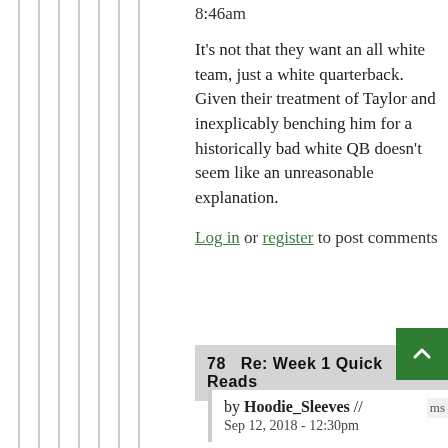8:46am
It's not that they want an all white team, just a white quarterback. Given their treatment of Taylor and inexplicably benching him for a historically bad white QB doesn't seem like an unreasonable explanation.
Log in or register to post comments
78   Re: Week 1 Quick Reads
by Hoodie_Sleeves //
Sep 12, 2018 - 12:30pm